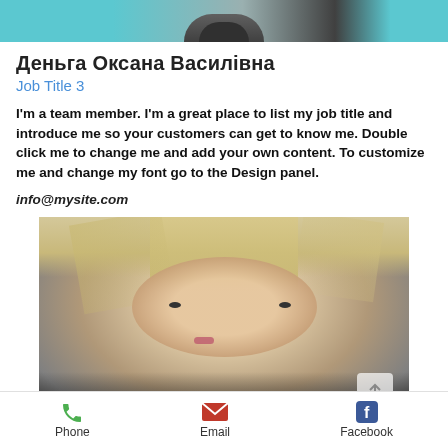[Figure (photo): Top portion of a person's photo with teal/cyan background, partially visible]
Деньга Оксана Василівна
Job Title 3
I'm a team member. I'm a great place to list my job title and introduce me so your customers can get to know me. Double click me to change me and add your own content. To customize me and change my font go to the Design panel.
info@mysite.com
[Figure (photo): Portrait photo of a blonde woman with short hair against a gray background. An up-arrow button is visible in the lower right corner.]
Phone  Email  Facebook